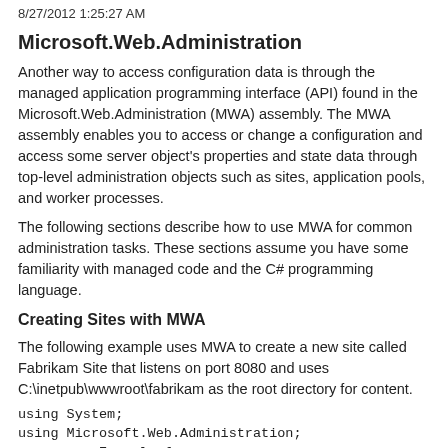8/27/2012 1:25:27 AM
Microsoft.Web.Administration
Another way to access configuration data is through the managed application programming interface (API) found in the Microsoft.Web.Administration (MWA) assembly. The MWA assembly enables you to access or change a configuration and access some server object's properties and state data through top-level administration objects such as sites, application pools, and worker processes.
The following sections describe how to use MWA for common administration tasks. These sections assume you have some familiarity with managed code and the C# programming language.
Creating Sites with MWA
The following example uses MWA to create a new site called Fabrikam Site that listens on port 8080 and uses C:\inetpub\wwwroot\fabrikam as the root directory for content.
[Figure (other): Code block showing C# code: using System; using Microsoft.Web.Administration; namespace Example { class Program { static void Main(string[] args) { ServerManager mgr = new ServerManager();]